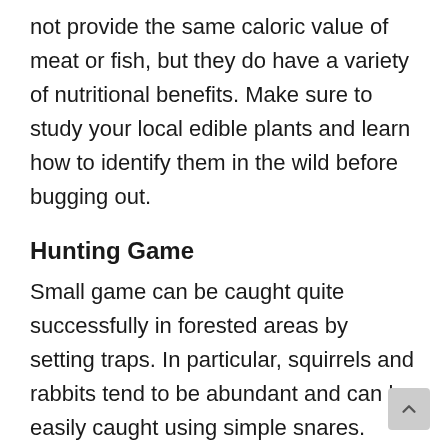not provide the same caloric value of meat or fish, but they do have a variety of nutritional benefits. Make sure to study your local edible plants and learn how to identify them in the wild before bugging out.
Hunting Game
Small game can be caught quite successfully in forested areas by setting traps. In particular, squirrels and rabbits tend to be abundant and can be easily caught using simple snares. Always ensure you mark the location of your snares on a map and check each one frequently; a struggling animal will attract attention from predators who may steal your meal before you even know it's there.